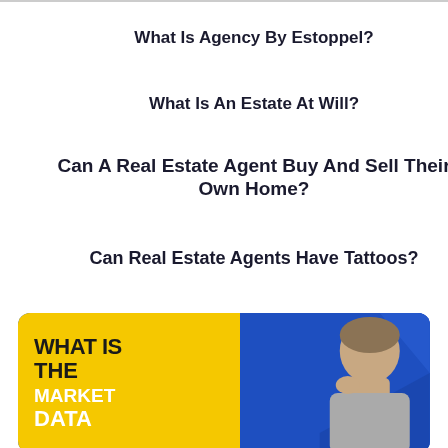What Is Agency By Estoppel?
What Is An Estate At Will?
Can A Real Estate Agent Buy And Sell Their Own Home?
Can Real Estate Agents Have Tattoos?
[Figure (infographic): Promotional thumbnail image with yellow left panel showing bold text 'WHAT IS THE MARKET DATA' and blue right panel featuring a man in a thinking pose with a large question mark graphic]